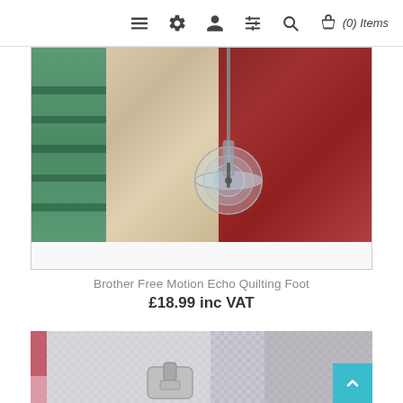(0) Items
[Figure (photo): Close-up photo of a Brother Free Motion Echo Quilting Foot attached to a sewing machine, positioned over a colorful patchwork quilt with green, beige/floral, and red/dark fabric sections. The presser foot is clear/transparent plastic with a circular shape.]
Brother Free Motion Echo Quilting Foot
£18.99 inc VAT
[Figure (photo): Close-up photo of a sewing machine presser foot on a grey and white grid/mesh fabric with red and pink fabric pieces visible at the edges. A back-to-top teal/cyan button with an upward arrow is visible in the lower-right corner.]